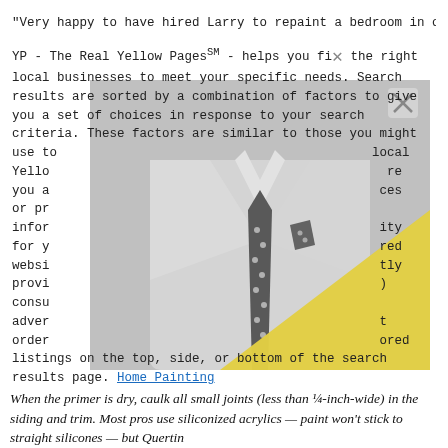"Very happy to have hired Larry to repaint a bedroom in o
YP - The Real Yellow PagesSM - helps you find the right local businesses to meet your specific needs. Search results are sorted by a combination of factors to give you a set of choices in response to your search criteria. These factors are similar to those you might use to find local Yellow [Pages] ... are you and ... ces or pro... infor... ity for yo... red websi... tly provid... consum... advert... ordering... ored listings on the top, side, or bottom of the search results page. Home Painting
[Figure (photo): Black and white photo of a man in a suit with polka dot tie and pocket square, overlaid with a bright yellow geometric triangle shape and a gray semi-transparent block with an X close button.]
When the primer is dry, caulk all small joints (less than ¼-inch-wide) in the siding and trim. Most pros use siliconized acrylics — paint won't stick to straight silicones — but Quertin